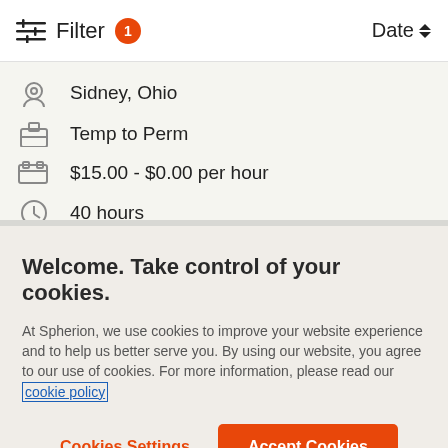Filter 1  Date
Sidney, Ohio
Temp to Perm
$15.00 - $0.00 per hour
40 hours
Welcome. Take control of your cookies.
At Spherion, we use cookies to improve your website experience and to help us better serve you. By using our website, you agree to our use of cookies. For more information, please read our cookie policy
Cookies Settings  Accept Cookies